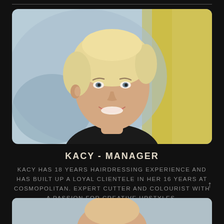[Figure (photo): Professional headshot photo of Kacy, a woman with short blonde hair, smiling, wearing a black top, against a light blue/grey background with yellow accent]
KACY - MANAGER
KACY HAS 18 YEARS HAIRDRESSING EXPERIENCE AND HAS BUILT UP A LOYAL CLIENTELE IN HER 16 YEARS AT COSMOPOLITAN. EXPERT CUTTER AND COLOURIST WITH A PASSION FOR CREATIVE UPSTYLES.
[Figure (photo): Partial photo of another staff member at the bottom of the page, cropped]